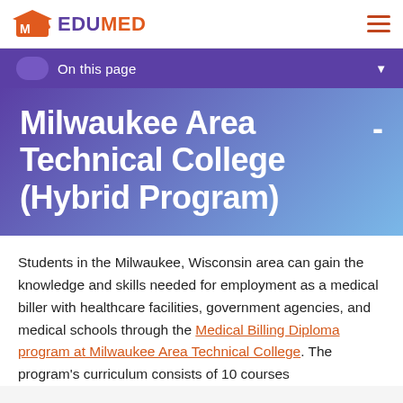EDUMED
On this page
Milwaukee Area Technical College - (Hybrid Program)
Students in the Milwaukee, Wisconsin area can gain the knowledge and skills needed for employment as a medical biller with healthcare facilities, government agencies, and medical schools through the Medical Billing Diploma program at Milwaukee Area Technical College. The program's curriculum consists of 10 courses